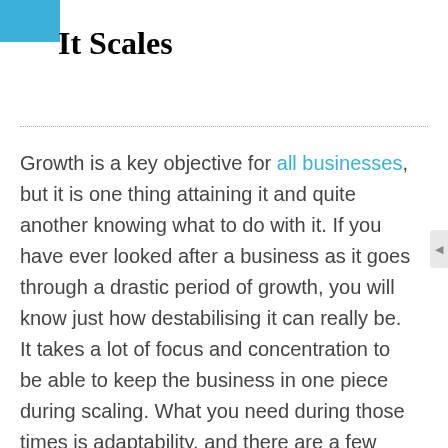It Scales
Growth is a key objective for all businesses, but it is one thing attaining it and quite another knowing what to do with it. If you have ever looked after a business as it goes through a drastic period of growth, you will know just how destabilising it can really be. It takes a lot of focus and concentration to be able to keep the business in one piece during scaling. What you need during those times is adaptability, and there are a few key ways in which you should aim to adapt your business